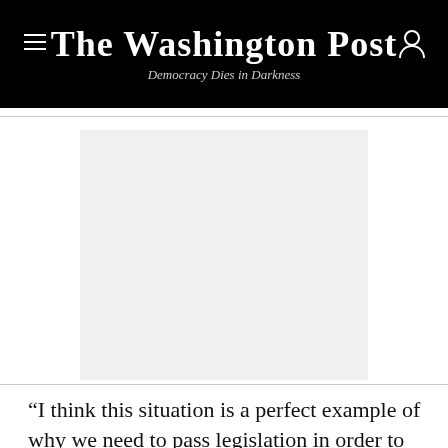The Washington Post — Democracy Dies in Darkness
[Figure (other): Advertisement placeholder — light gray rectangle]
“I think this situation is a perfect example of why we need to pass legislation in order to protect not only